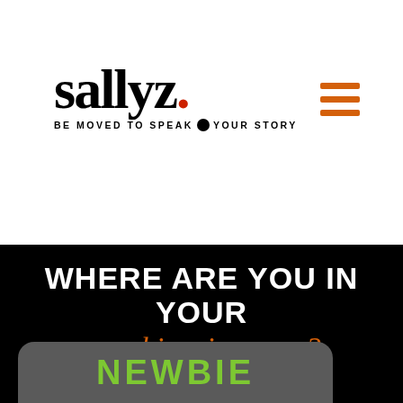[Figure (logo): Sally Z logo with tagline 'BE MOVED TO SPEAK YOUR STORY' and orange hamburger menu icon]
WHERE ARE YOU IN YOUR speaking journey?
NEWBIE